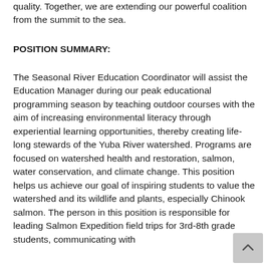quality. Together, we are extending our powerful coalition from the summit to the sea.
POSITION SUMMARY:
The Seasonal River Education Coordinator will assist the Education Manager during our peak educational programming season by teaching outdoor courses with the aim of increasing environmental literacy through experiential learning opportunities, thereby creating life-long stewards of the Yuba River watershed. Programs are focused on watershed health and restoration, salmon, water conservation, and climate change. This position helps us achieve our goal of inspiring students to value the watershed and its wildlife and plants, especially Chinook salmon. The person in this position is responsible for leading Salmon Expedition field trips for 3rd-8th grade students, communicating with